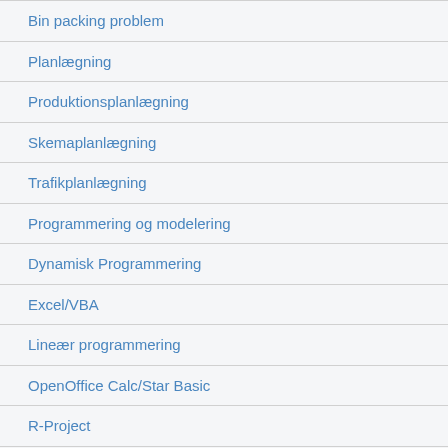Bin packing problem
Planlægning
Produktionsplanlægning
Skemaplanlægning
Trafikplanlægning
Programmering og modelering
Dynamisk Programmering
Excel/VBA
Lineær programmering
OpenOffice Calc/Star Basic
R-Project
Web